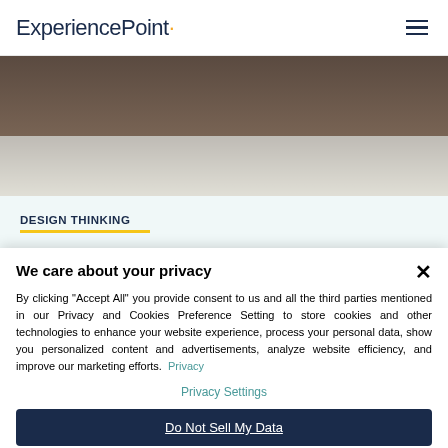ExperiencePoint
[Figure (photo): Blurred background image of people in a warm-toned interior setting, partially visible behind the page header.]
DESIGN THINKING
5 Icebreakers to Ignite Your
We care about your privacy

By clicking "Accept All" you provide consent to us and all the third parties mentioned in our Privacy and Cookies Preference Setting to store cookies and other technologies to enhance your website experience, process your personal data, show you personalized content and advertisements, analyze website efficiency, and improve our marketing efforts. Privacy

Privacy Settings

Do Not Sell My Data

Accept All